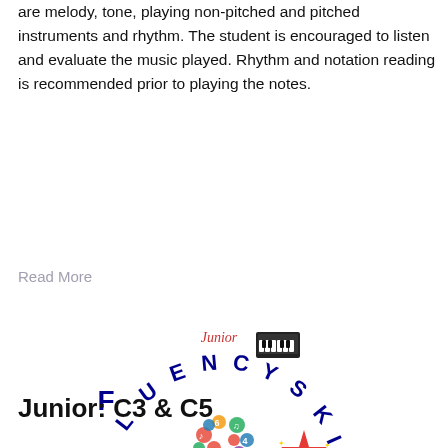are melody, tone, playing non-pitched and pitched instruments and rhythm. The student is encouraged to listen and evaluate the music played. Rhythm and notation reading is recommended prior to playing the notes.
Read More
[Figure (logo): Junior Fluency Skills logo featuring a colorful musical tree with notes, a piano, a red star character, and text 'C3 & C5' in red]
Junior: C3 & C5